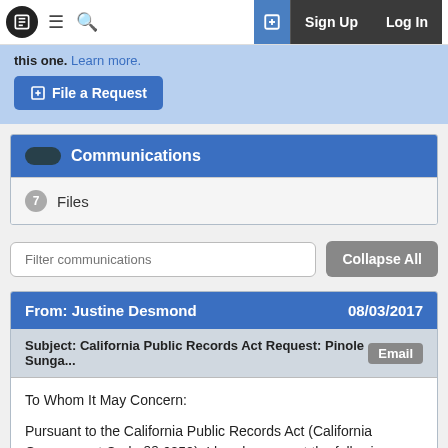Sign Up  Log In
this one. Learn more.
File a Request
Communications
7 Files
Filter communications   Collapse All
From: Justine Desmond  08/03/2017
Subject: California Public Records Act Request: Pinole Sunga...  Email
To Whom It May Concern:

Pursuant to the California Public Records Act (California Government Code §§ 6250), I hereby request the following